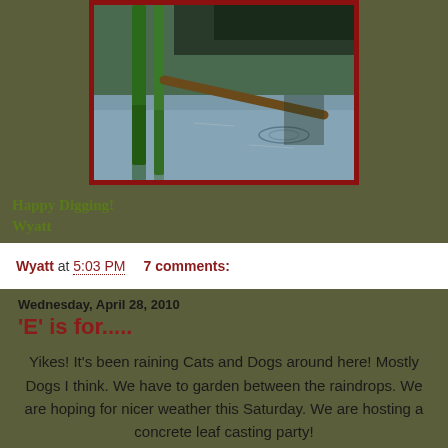[Figure (photo): Photo of a wetland or pond scene with green reeds/cattails in the foreground and water in the background, with a stick or branch visible, framed with a dark red border.]
Happy Digging!
Wyatt
Wyatt at 5:03 PM    7 comments:
Wednesday, April 28, 2010
'E' is for.....
Yikes! It's been raining Cats and Dogs around here! Mostly Dogs I think. We have to garden between the raindrops. We are hoping for nicer weather this Saturday. We are hosting a concrete leaf casting party!
We have never done this before. About 14 of us (not